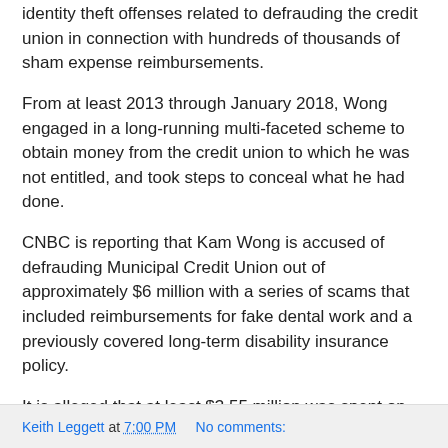identity theft offenses related to defrauding the credit union in connection with hundreds of thousands of sham expense reimbursements.
From at least 2013 through January 2018, Wong engaged in a long-running multi-faceted scheme to obtain money from the credit union to which he was not entitled, and took steps to conceal what he had done.
CNBC is reporting that Kam Wong is accused of defrauding Municipal Credit Union out of approximately $6 million with a series of scams that included reimbursements for fake dental work and a previously covered long-term disability insurance policy.
It is alleged that at least $3.55 million was spent on New York State Lottery tickets.
Read the press release.
Keith Leggett at 7:00 PM   No comments: